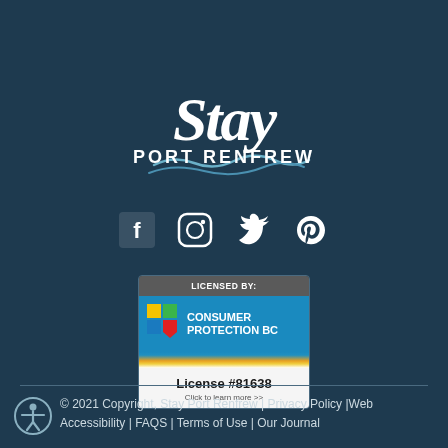[Figure (logo): Stay Port Renfrew logo — cursive 'Stay' text above wave design with 'PORT RENFREW' in block capitals]
[Figure (infographic): Social media icons: Facebook, Instagram, Twitter, Pinterest — white icons on dark teal background]
[Figure (logo): Licensed By: Consumer Protection BC badge with License #81638 and 'Click to learn more >>' text]
© 2021 Copyright, Stay Port Renfrew | Privacy Policy |Web Accessibility | FAQS | Terms of Use | Our Journal